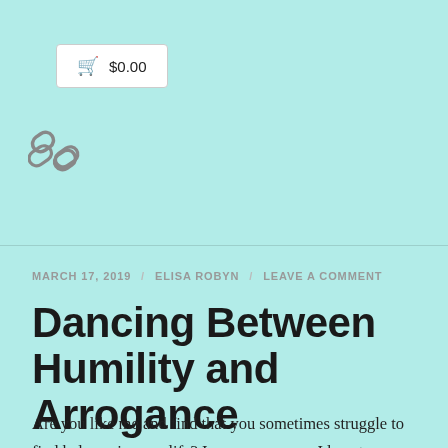[Figure (other): Shopping cart button UI element showing cart icon and $0.00 price]
[Figure (other): Chain link icon (social sharing or link icon)]
MARCH 17, 2019 / ELISA ROBYN / LEAVE A COMMENT
Dancing Between Humility and Arrogance
Are you like me and find that you sometimes struggle to find balance in your life? In so many areas I lean too